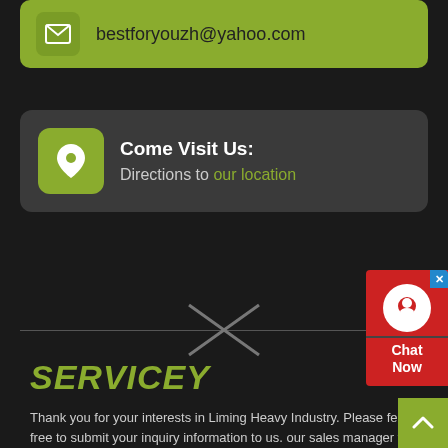bestforyouzh@yahoo.com
Come Visit Us: Directions to our location
[Figure (infographic): Decorative X divider with horizontal line]
SERVICEY
Thank you for your interests in Liming Heavy Industry. Please feel free to submit your inquiry information to us. our sales manager will contact with you as soon as possible.
[Figure (infographic): Chat Now widget in red on right side with headset icon and close button]